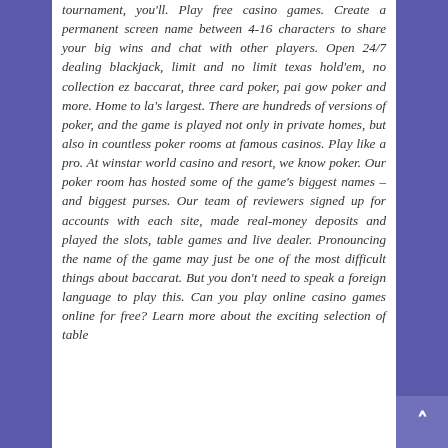tournament, you'll. Play free casino games. Create a permanent screen name between 4-16 characters to share your big wins and chat with other players. Open 24/7 dealing blackjack, limit and no limit texas hold'em, no collection ez baccarat, three card poker, pai gow poker and more. Home to la's largest. There are hundreds of versions of poker, and the game is played not only in private homes, but also in countless poker rooms at famous casinos. Play like a pro. At winstar world casino and resort, we know poker. Our poker room has hosted some of the game's biggest names – and biggest purses. Our team of reviewers signed up for accounts with each site, made real-money deposits and played the slots, table games and live dealer. Pronouncing the name of the game may just be one of the most difficult things about baccarat. But you don't need to speak a foreign language to play this. Can you play online casino games online for free? Learn more about the exciting selection of table